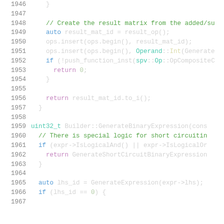Source code listing lines 1946-1967
1946: }
1947: (blank)
1948: // Create the result matrix from the added/su
1949: auto result_mat_id = result_op();
1950: ops.insert(ops.begin(), result_mat_id);
1951: ops.insert(ops.begin(), Operand::Int(Generate
1952: if (!push_function_inst(spv::Op::OpCompositeC
1953: return 0;
1954: }
1955: (blank)
1956: return result_mat_id.to_i();
1957: }
1958: (blank)
1959: uint32_t Builder::GenerateBinaryExpression(cons
1960: // There is special logic for short circuitin
1961: if (expr->IsLogicalAnd() || expr->IsLogicalOr
1962: return GenerateShortCircuitBinaryExpression
1963: }
1964: (blank)
1965: auto lhs_id = GenerateExpression(expr->lhs);
1966: if (lhs_id == 0) {
1967: ...